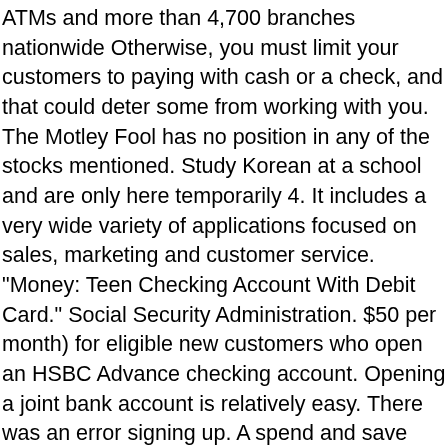ATMs and more than 4,700 branches nationwide Otherwise, you must limit your customers to paying with cash or a check, and that could deter some from working with you. The Motley Fool has no position in any of the stocks mentioned. Study Korean at a school and are only here temporarily 4. It includes a very wide variety of applications focused on sales, marketing and customer service. "Money: Teen Checking Account With Debit Card." Social Security Administration. $50 per month) for eligible new customers who open an HSBC Advance checking account. Opening a joint bank account is relatively easy. There was an error signing up. A spend and save combo account with unlimited cash back rewards and deposits insured by the FDIC. In addition to your name, contact details and proof of ID, you may also need to supply: I'm opening a bank account for my child. The Central Bank of Kansas City Savings account, offered through SaveBetter, has a $1 opening deposit and earns 0.4% APY. SoFi Money® is a cash management account that charges no account fees to save, spend, and earn cash back rewards when you spend on brands you love. Yes, children can be taxed on unearned income over